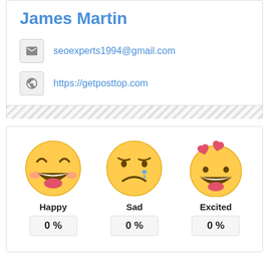James Martin
seoexperts1994@gmail.com
https://getposttop.com
[Figure (infographic): Three emoji faces labeled Happy, Sad, Excited each showing 0%]
Happy  0 %
Sad  0 %
Excited  0 %